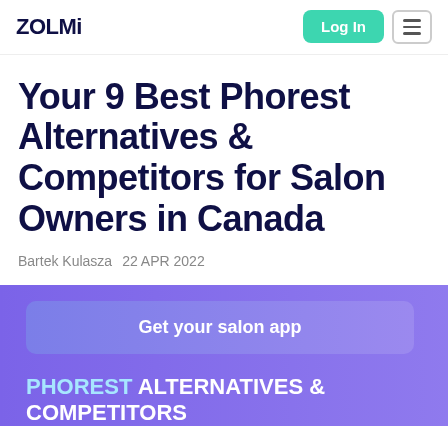ZOLMi
Your 9 Best Phorest Alternatives & Competitors for Salon Owners in Canada
Bartek Kulasza   22 APR 2022
Get your salon app
PHOREST ALTERNATIVES & COMPETITORS